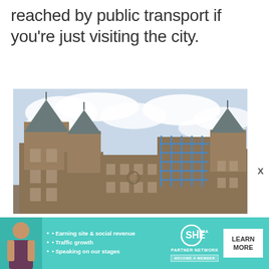reached by public transport if you’re just visiting the city.
[Figure (photo): Exterior view of Holyrood Palace (or similar Scottish castle/palace) in Edinburgh, showing stone towers with conical roofs, many windows, and scaffolding on part of the structure. Overcast sky in the background.]
[Figure (infographic): Advertisement banner for SHE Media Partner Network. Features a woman, bullet points listing: Earning site & social revenue, Traffic growth, Speaking on our stages. SHE Partner Network logo and BECOME A MEMBER badge. LEARN MORE button.]